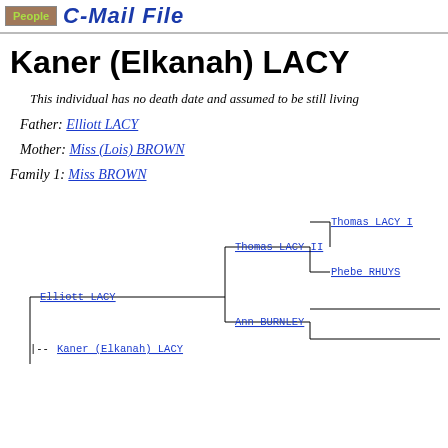People | C-Mail File
Kaner (Elkanah) LACY
This individual has no death date and assumed to be still living
Father: Elliott LACY
Mother: Miss (Lois) BROWN
Family 1: Miss BROWN
[Figure (other): Genealogy fan/pedigree chart showing ancestors of Kaner (Elkanah) LACY. Elliott LACY connects to Thomas LACY II and Ann BURNLEY. Thomas LACY II connects to Thomas LACY I and Phebe RHUYS. Kaner (Elkanah) LACY shown at left with vertical line.]